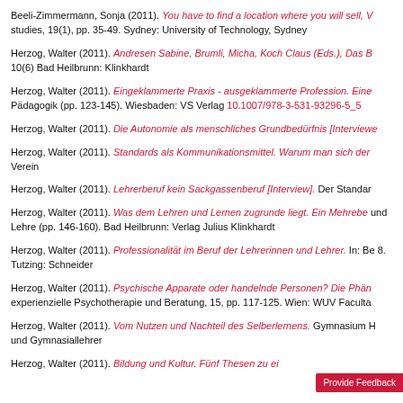Beeli-Zimmermann, Sonja (2011). You have to find a location where you will sell, V... studies, 19(1), pp. 35-49. Sydney: University of Technology, Sydney
Herzog, Walter (2011). Andresen Sabine, Brumli, Micha, Koch Claus (Eds.), Das B... 10(6) Bad Heilbrunn: Klinkhardt
Herzog, Walter (2011). Eingeklammerte Praxis - ausgeklammerte Profession. Eine... Pädagogik (pp. 123-145). Wiesbaden: VS Verlag 10.1007/978-3-531-93296-5_5
Herzog, Walter (2011). Die Autonomie als menschliches Grundbedürfnis [Interviewe...
Herzog, Walter (2011). Standards als Kommunikationsmittel. Warum man sich der... Verein
Herzog, Walter (2011). Lehrerberuf kein Sackgassenberuf [Interview]. Der Standar...
Herzog, Walter (2011). Was dem Lehren und Lernen zugrunde liegt. Ein Mehreben... und Lehre (pp. 146-160). Bad Heilbrunn: Verlag Julius Klinkhardt
Herzog, Walter (2011). Professionalität im Beruf der Lehrerinnen und Lehrer. In: Be... 8. Tutzing: Schneider
Herzog, Walter (2011). Psychische Apparate oder handelnde Personen? Die Phän... experienzielle Psychotherapie und Beratung, 15, pp. 117-125. Wien: WUV Faculta...
Herzog, Walter (2011). Vom Nutzen und Nachteil des Selberlernens. Gymnasium H... und Gymnasiallehrer
Herzog, Walter (2011). Bildung und Kultur. Fünf Thesen zu ei...